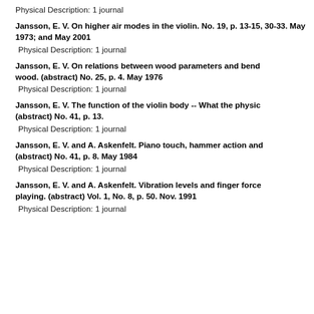Physical Description: 1 journal
Jansson, E. V. On higher air modes in the violin. No. 19, p. 13-15, 30-33. May 1973; and May 2001
Physical Description: 1 journal
Jansson, E. V. On relations between wood parameters and bending of wood. (abstract) No. 25, p. 4. May 1976
Physical Description: 1 journal
Jansson, E. V. The function of the violin body -- What the physic... (abstract) No. 41, p. 13.
Physical Description: 1 journal
Jansson, E. V. and A. Askenfelt. Piano touch, hammer action and... (abstract) No. 41, p. 8. May 1984
Physical Description: 1 journal
Jansson, E. V. and A. Askenfelt. Vibration levels and finger force... playing. (abstract) Vol. 1, No. 8, p. 50. Nov. 1991
Physical Description: 1 journal